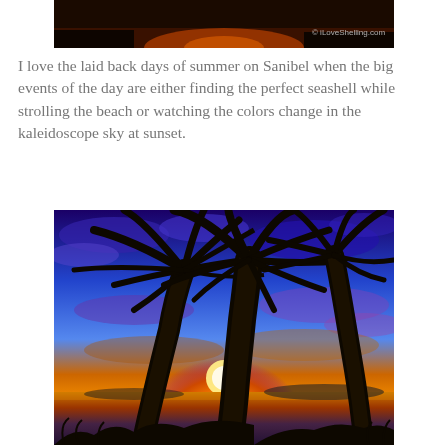[Figure (photo): Dark sunset photo with orange sky at the top, watermark reading © iLoveShelling.com in the bottom right]
I love the laid back days of summer on Sanibel when the big events of the day are either finding the perfect seashell while strolling the beach or watching the colors change in the kaleidoscope sky at sunset.
[Figure (photo): Vivid sunset photo with palm tree silhouettes in foreground, dramatic blue, purple, orange and gold sky with sun setting over calm water on Sanibel island]